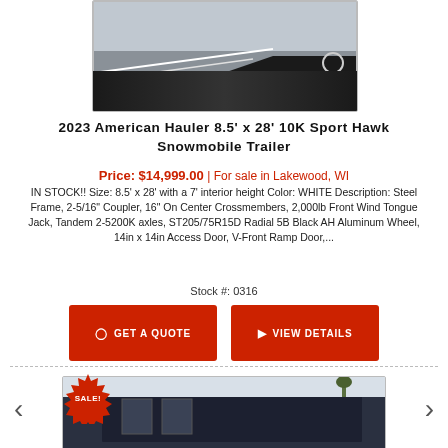[Figure (photo): Partial photo of a trailer/snowmobile trailer, top portion of the page]
2023 American Hauler 8.5' x 28' 10K Sport Hawk Snowmobile Trailer
Price: $14,999.00 | For sale in Lakewood, WI
IN STOCK!! Size: 8.5' x 28' with a 7' interior height Color: WHITE Description: Steel Frame, 2-5/16" Coupler, 16" On Center Crossmembers, 2,000lb Front Wind Tongue Jack, Tandem 2-5200K axles, ST205/75R15D Radial 5B Black AH Aluminum Wheel, 14in x 14in Access Door, V-Front Ramp Door,...
Stock #: 0316
GET A QUOTE
VIEW DETAILS
[Figure (photo): Photo of a dark/black enclosed trailer with a SALE! badge starburst in upper left corner]